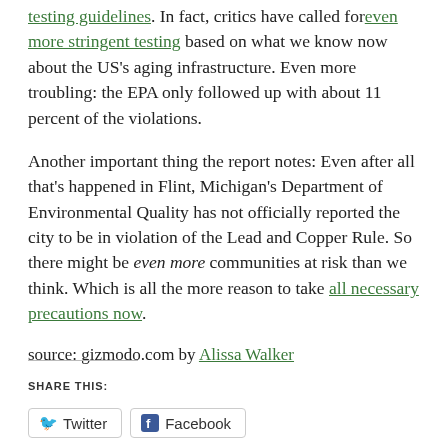testing guidelines. In fact, critics have called for even more stringent testing based on what we know now about the US's aging infrastructure. Even more troubling: the EPA only followed up with about 11 percent of the violations.
Another important thing the report notes: Even after all that's happened in Flint, Michigan's Department of Environmental Quality has not officially reported the city to be in violation of the Lead and Copper Rule. So there might be even more communities at risk than we think. Which is all the more reason to take all necessary precautions now.
source: gizmodo.com by Alissa Walker
SHARE THIS:
Twitter  Facebook